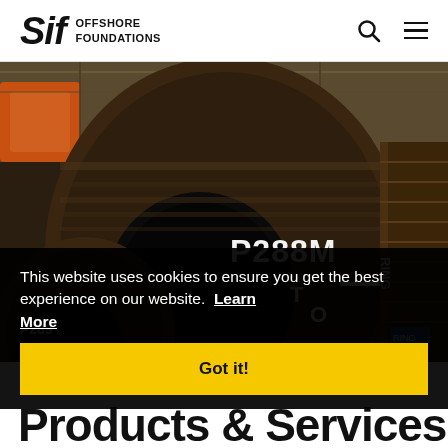Sif OFFSHORE FOUNDATIONS
[Figure (photo): Industrial photo of large steel cylindrical pipe sections (monopile or tube segments) in a factory/warehouse setting. A pipe marked 'P288M TOP' with an arrow is prominently visible. Orange crane machinery visible in background.]
This website uses cookies to ensure you get the best experience on our website. Learn More
Got it!
Products & Services